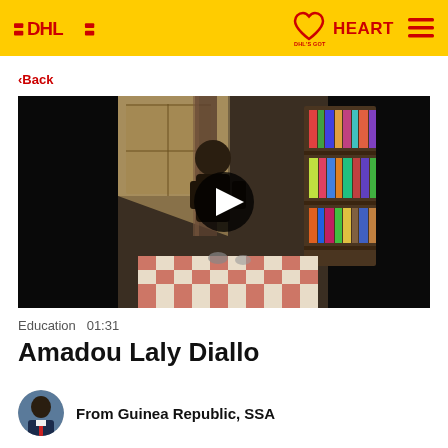DHL — DHL'S GOT HEART
‹Back
[Figure (screenshot): Video thumbnail showing a dimly lit room with a person standing near a window, a bookshelf with books on the right, and a checkered tablecloth on a table in the foreground. A circular play button is overlaid in the center.]
Education  01:31
Amadou Laly Diallo
From Guinea Republic, SSA